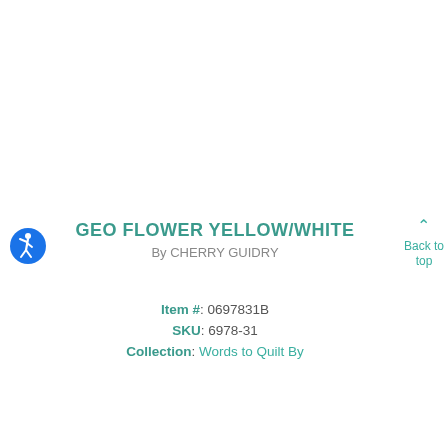[Figure (illustration): Blue circular accessibility icon with a white stick figure in a dynamic pose]
GEO FLOWER YELLOW/WHITE
By CHERRY GUIDRY
Item #: 0697831B
SKU: 6978-31
Collection: Words to Quilt By
Back to top